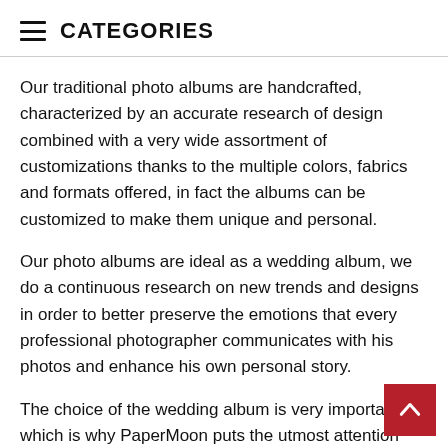CATEGORIES
Our traditional photo albums are handcrafted, characterized by an accurate research of design combined with a very wide assortment of customizations thanks to the multiple colors, fabrics and formats offered, in fact the albums can be customized to make them unique and personal.
Our photo albums are ideal as a wedding album, we do a continuous research on new trends and designs in order to better preserve the emotions that every professional photographer communicates with his photos and enhance his own personal story.
The choice of the wedding album is very important, which is why PaperMoon puts the utmost attention and attention to detail to create high quality handmade albums made with love by Italian artisans.